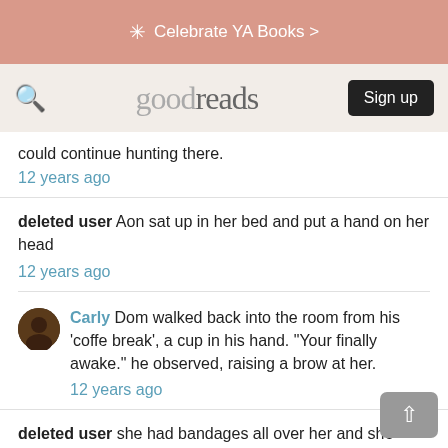Celebrate YA Books >
goodreads  Sign up
could continue hunting there.
12 years ago
deleted user Aon sat up in her bed and put a hand on her head
12 years ago
Carly Dom walked back into the room from his 'coffe break', a cup in his hand. "Your finally awake." he observed, raising a brow at her.
12 years ago
deleted user she had bandages all over her and she looked up at him
the doctor came in and told him that her vocal cords were